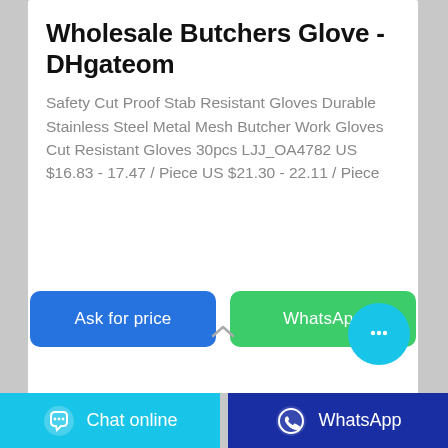Wholesale Butchers Glove - DHgateom
Safety Cut Proof Stab Resistant Gloves Durable Stainless Steel Metal Mesh Butcher Work Gloves Cut Resistant Gloves 30pcs LJJ_OA4782 US $16.83 - 17.47 / Piece US $21.30 - 22.11 / Piece
[Figure (screenshot): Two action buttons: 'Ask for price' (blue) and 'WhatsApp' (green), and a cyan chat bubble circle icon with ellipsis]
[Figure (screenshot): Bottom navigation bar with two sections: 'Chat online' on cyan background with speech bubble icon, and 'WhatsApp' on dark blue background with WhatsApp logo]